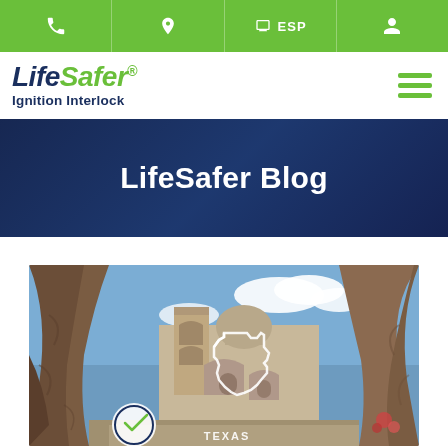Phone | Location | ESP | Account — navigation bar
[Figure (logo): LifeSafer Ignition Interlock logo with green and dark blue text]
LifeSafer Blog
[Figure (photo): Photo of a Texas mission church viewed through rocky cave opening, with outline of Texas state and TEXAS text overlay]